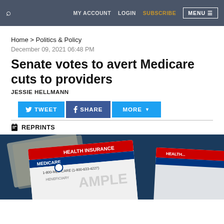MY ACCOUNT  LOGIN  SUBSCRIBE  MENU
Home > Politics & Policy
December 09, 2021 06:48 PM
Senate votes to avert Medicare cuts to providers
JESSIE HELLMANN
[Figure (screenshot): Social sharing buttons: TWEET, SHARE, MORE with dropdown arrow]
REPRINTS
[Figure (photo): Medicare health insurance card sample on a dark blue background with paper money visible]